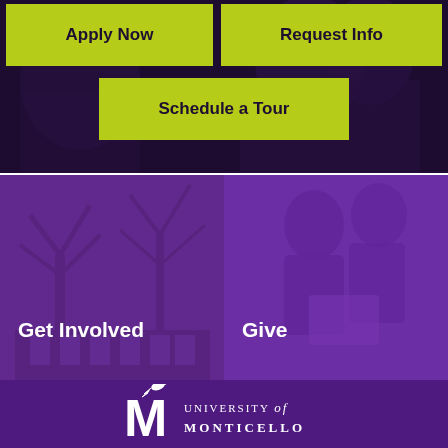[Figure (screenshot): Dark purple/black background section with photo of person, top portion of university website]
Apply Now
Request Info
Schedule a Tour
[Figure (photo): Left panel with purple overlay showing trees and a building, labeled Get Involved]
Get Involved
[Figure (photo): Right panel with purple overlay showing people, labeled Give]
Give
[Figure (logo): University of Monticello logo with bird on letter M and serif text reading UNIVERSITY of MONTICELLO]
UNIVERSITY of MONTICELLO